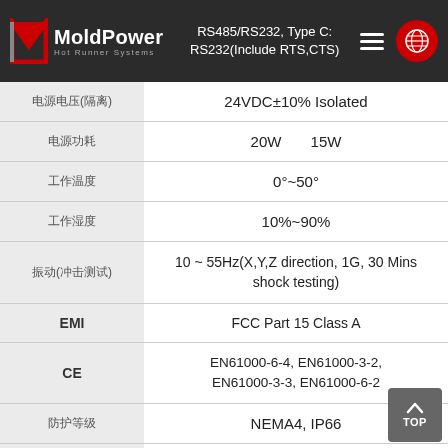MoldPower Hot Runner Systems — Type A: RS422/485, Type B: RS485/RS232, Type C: RS232(Include RTS,CTS)
| Parameter | Value |
| --- | --- |
| 电源电压(隔离) | 24VDC±10% Isolated |
| 电源功耗 | 20W   15W |
| 工作温度 | 0°~50° |
| 工作湿度 | 10%~90% |
| 振动(冲击测试) | 10 ~ 55Hz(X,Y,Z direction, 1G, 30 Mins shock testing) |
| EMI | FCC Part 15 Class A |
| CE | EN61000-6-4, EN61000-3-2, EN61000-3-3, EN61000-6-2 |
| 防护等级 | NEMA4, IP66 |
| 认证标准 | 相关认证 |